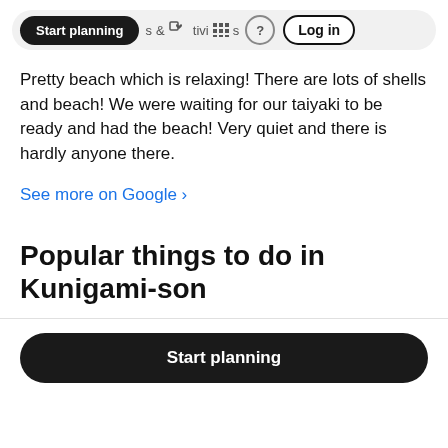Start planning  & Activities  ?  Log in
Pretty beach which is relaxing! There are lots of shells and beach! We were waiting for our taiyaki to be ready and had the beach! Very quiet and there is hardly anyone there.
See more on Google ›
Popular things to do in Kunigami-son
Start planning